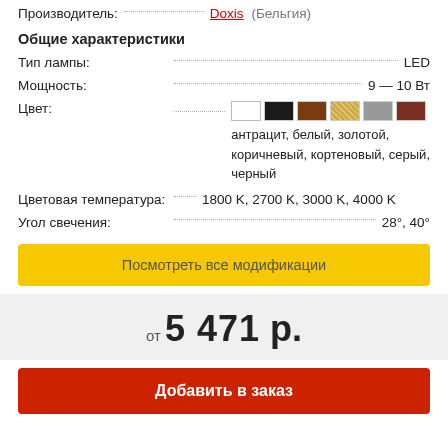Производитель: Doxis (Бельгия)
Общие характеристики
Тип лампы: LED
Мощность: 9 — 10 Вт
Цвет: антрацит, белый, золотой, коричневый, кортеновый, серый, черный
Цветовая температура: 1800 K, 2700 K, 3000 K, 4000 K
Угол свечения: 28°, 40°
Посмотреть все модификации
от 5 471 р.
Добавить в заказ